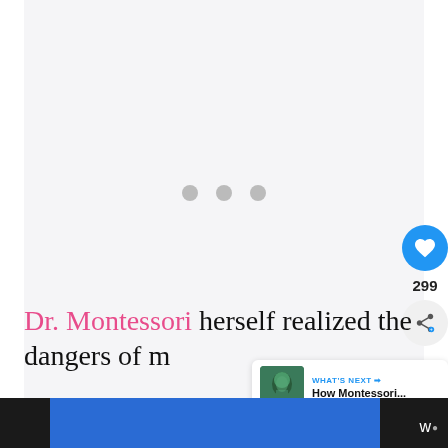[Figure (screenshot): Light gray content area with three gray dots in the center indicating a loading state. Blue circular like/heart button on the right side with count 299 below it, and a share button beneath. A 'What's Next' card in bottom-right showing a thumbnail and 'How Montessori...' text.]
Dr. Montessori herself realized the dangers of m...
[Figure (screenshot): Bottom navigation bar with dark background, a blue rectangle overlay in the center, and a 'w' logo with superscript dot on the right.]